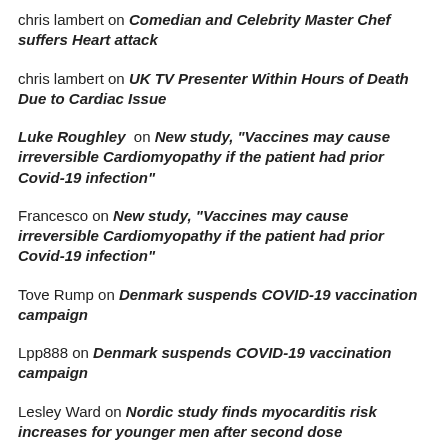chris lambert on Comedian and Celebrity Master Chef suffers Heart attack
chris lambert on UK TV Presenter Within Hours of Death Due to Cardiac Issue
Luke Roughley on New study, "Vaccines may cause irreversible Cardiomyopathy if the patient had prior Covid-19 infection"
Francesco on New study, "Vaccines may cause irreversible Cardiomyopathy if the patient had prior Covid-19 infection"
Tove Rump on Denmark suspends COVID-19 vaccination campaign
Lpp888 on Denmark suspends COVID-19 vaccination campaign
Lesley Ward on Nordic study finds myocarditis risk increases for younger men after second dose
[Figure (infographic): Advertisement banner: Save Up to 65% Leesburg Premium Outlets with logo icon and navigation arrow]